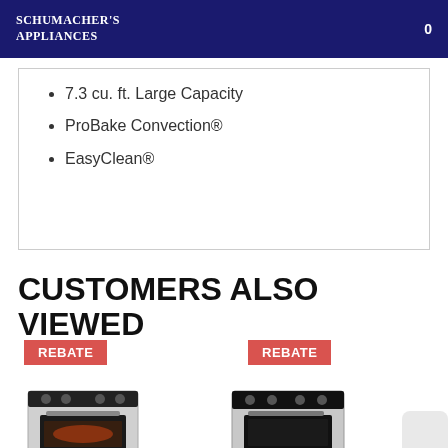Schumacher's Appliances
7.3 cu. ft. Large Capacity
ProBake Convection®
EasyClean®
CUSTOMERS ALSO VIEWED
[Figure (photo): Stainless steel electric range with REBATE badge]
[Figure (photo): Stainless steel electric range with REBATE badge, second product]